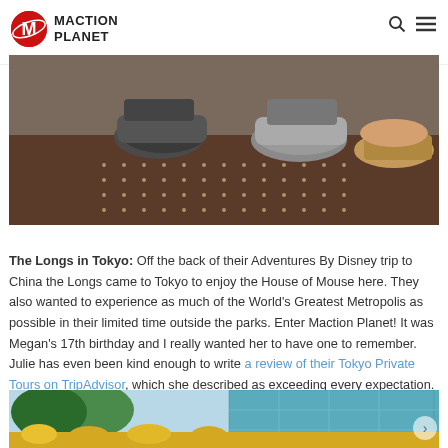Maction Planet
[Figure (photo): Close-up photo of people's feet and shoes standing on a decorative tiled floor with small lights]
The Longs in Tokyo: Off the back of their Adventures By Disney trip to China the Longs came to Tokyo to enjoy the House of Mouse here. They also wanted to experience as much of the World's Greatest Metropolis as possible in their limited time outside the parks. Enter Maction Planet! It was Megan's 17th birthday and I really wanted her to have one to remember. Julie has even been kind enough to write a review of their Tokyo Private Tours on TripAdvisor, which she described as exceeding every expectation. What an honour!
[Figure (photo): Exterior photo of a modern glass building with green trees and yellow flowers in the foreground]